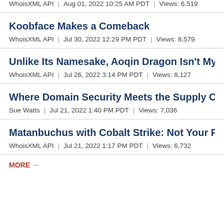WhoisXML API | Aug 01, 2022 10:25 AM PDT | Views: 6,519
Koobface Makes a Comeback
WhoisXML API | Jul 30, 2022 12:29 PM PDT | Views: 8,579
Unlike Its Namesake, Aoqin Dragon Isn't Mythical
WhoisXML API | Jul 26, 2022 3:14 PM PDT | Views: 8,127
Where Domain Security Meets the Supply Chain C
Sue Watts | Jul 21, 2022 1:40 PM PDT | Views: 7,036
Matanbuchus with Cobalt Strike: Not Your Favorite
WhoisXML API | Jul 21, 2022 1:17 PM PDT | Views: 6,732
MORE →